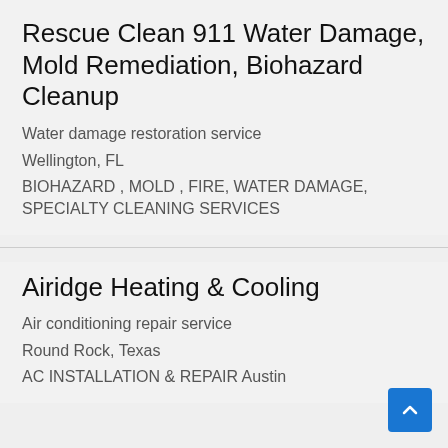Rescue Clean 911 Water Damage, Mold Remediation, Biohazard Cleanup
Water damage restoration service
Wellington, FL
BIOHAZARD , MOLD , FIRE, WATER DAMAGE, SPECIALTY CLEANING SERVICES
Airidge Heating & Cooling
Air conditioning repair service
Round Rock, Texas
AC INSTALLATION & REPAIR Austin